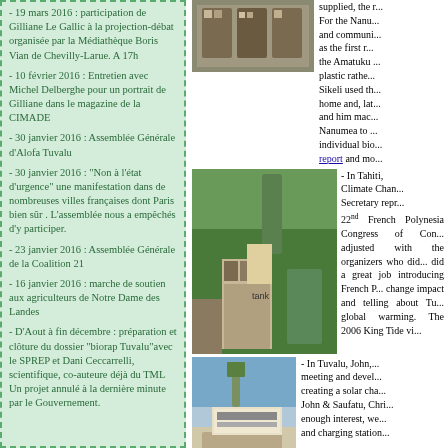- 19 mars 2016 : participation de Gilliane Le Gallic à la projection-débat organisée par la Médiathèque Boris Vian de Chevilly-Larue. A 17h
- 10 février 2016 : Entretien avec Michel Delberghe pour un portrait de Gilliane dans le magazine de la CIMADE
- 30 janvier 2016 : Assemblée Générale d'Alofa Tuvalu
- 30 janvier 2016 : "Non à l'état d'urgence" une manifestation dans de nombreuses villes françaises dont Paris bien sûr . L'assemblée nous a empêchés d'y participer.
- 23 janvier 2016 : Assemblée Générale de la Coalition 21
- 16 janvier 2016 : marche de soutien aux agriculteurs de Notre Dame des Landes
- D'Aout à fin décembre : préparation et clôture du dossier "biorap Tuvalu"avec le SPREP et Dani Ceccarrelli, scientifique, co-auteure déjà du TML Un projet annulé à la dernière minute par le Gouvernement.
[Figure (photo): Photo of shelves/display inside a building]
[Figure (photo): Photo of people digging near a large green water tank]
supplied, the r... For the Nanu... and communi... as the first r... the Amatuku ... plastic rathe... Sikeli used th... home and, lat... and him mac... Nanumea to ... individual bio... report and mo...
- In Tahiti, Climate Chan... Secretary repr... 22nd French Polynesia Congress of Con... adjusted with the organizers who did... did a great job introducing French P... change impact and telling about Tu... global warming. The 2006 King Tide vi...
[Figure (photo): Photo of a scooter/motorbike in front of a billboard building]
- In Tuvalu, John,... meeting and devel... creating a solar cha... John & Saufatu, Chri... enough interest, we... and charging station...
- In Noumea and Magnetic Island, San... specialists, sent the 1st step of the 201... with the fishery department, kaupule'... The 1st one is now in the hands of Fa...